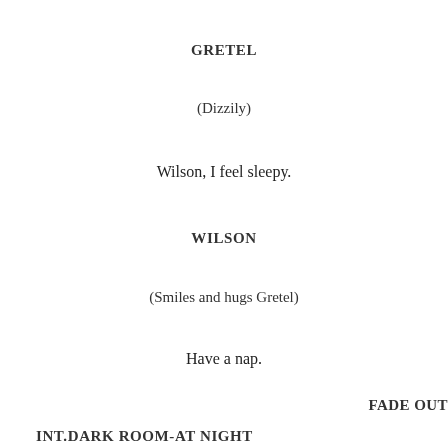GRETEL
(Dizzily)
Wilson, I feel sleepy.
WILSON
(Smiles and hugs Gretel)
Have a nap.
FADE OUT
INT.DARK ROOM-AT NIGHT